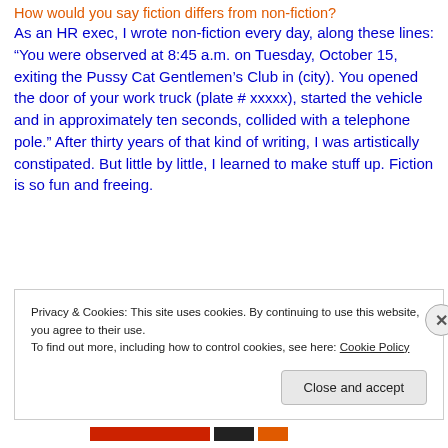How would you say fiction differs from non-fiction?
As an HR exec, I wrote non-fiction every day, along these lines: “You were observed at 8:45 a.m. on Tuesday, October 15, exiting the Pussy Cat Gentlemen’s Club in (city). You opened the door of your work truck (plate # xxxxx), started the vehicle and in approximately ten seconds, collided with a telephone pole.” After thirty years of that kind of writing, I was artistically constipated. But little by little, I learned to make stuff up. Fiction is so fun and freeing.
Privacy & Cookies: This site uses cookies. By continuing to use this website, you agree to their use.
To find out more, including how to control cookies, see here: Cookie Policy
Close and accept